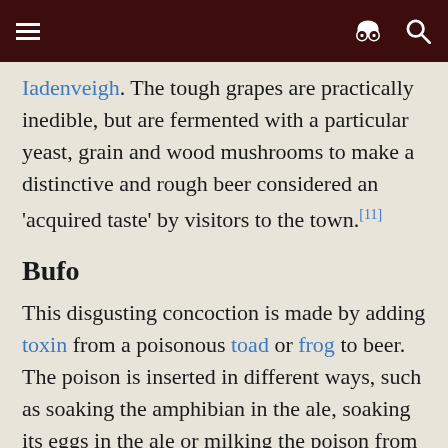[menu icon] [incognito icon] [search icon]
Iadenveigh. The tough grapes are practically inedible, but are fermented with a particular yeast, grain and wood mushrooms to make a distinctive and rough beer considered an 'acquired taste' by visitors to the town.[11]
Bufo
This disgusting concoction is made by adding toxin from a poisonous toad or frog to beer. The poison is inserted in different ways, such as soaking the amphibian in the ale, soaking its eggs in the ale or milking the poison from the amphibian and then mixing it in. Bufo is not consumed in civilized societies, but